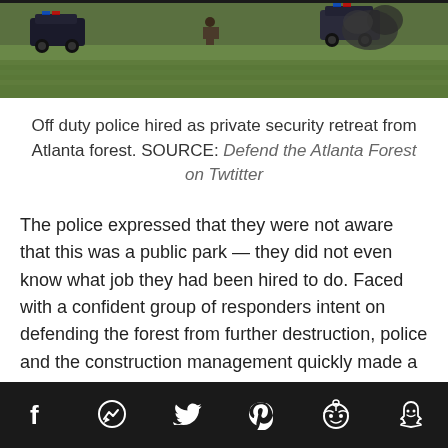[Figure (photo): Photo showing off-duty police and vehicles on a grassy field retreating from Atlanta forest, with dark smoke visible in the background.]
Off duty police hired as private security retreat from Atlanta forest. SOURCE: Defend the Atlanta Forest on Twtitter
The police expressed that they were not aware that this was a public park — they did not even know what job they had been hired to do. Faced with a confident group of responders intent on defending the forest from further destruction, police and the construction management quickly made a decision and informed the crowd: OK, they would leave.
Social sharing icons: Facebook, Messenger, Twitter, Pinterest, Reddit, Snapchat